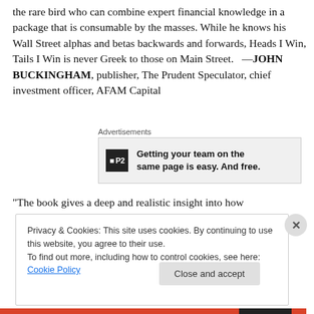the rare bird who can combine expert financial knowledge in a package that is consumable by the masses. While he knows his Wall Street alphas and betas backwards and forwards, Heads I Win, Tails I Win is never Greek to those on Main Street." —JOHN BUCKINGHAM, publisher, The Prudent Speculator, chief investment officer, AFAM Capital
Advertisements
[Figure (other): Advertisement box with P2 logo icon and text: Getting your team on the same page is easy. And free.]
“The book gives a deep and realistic insight into how
Privacy & Cookies: This site uses cookies. By continuing to use this website, you agree to their use. To find out more, including how to control cookies, see here: Cookie Policy